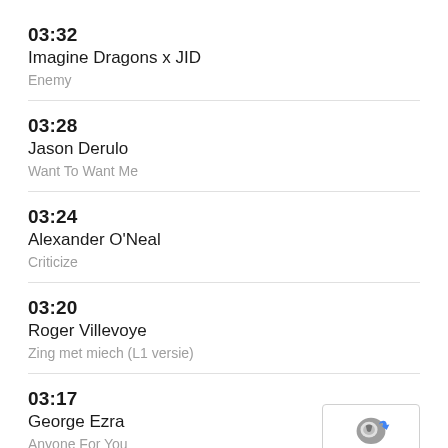03:32
Imagine Dragons x JID
Enemy
03:28
Jason Derulo
Want To Want Me
03:24
Alexander O'Neal
Criticize
03:20
Roger Villevoye
Zing met miech (L1 versie)
03:17
George Ezra
Anyone For You